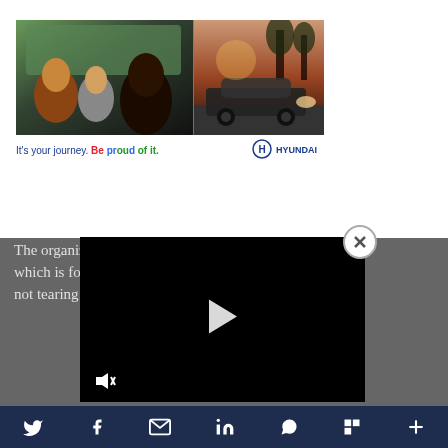[Figure (photo): Hyundai advertisement banner showing people in a car on the left side and a Hyundai SUV at sunset on the right side, with tagline 'It's your journey. Be proud of it.' and Hyundai logo]
[Figure (screenshot): Video player overlay on dark grey background showing a black video frame with play button and mute/unmute control, and an X close button]
The organiz... Pride event which is foc... people and not tearing ... ing
[Figure (infographic): Social sharing toolbar with Twitter, Facebook, email, LinkedIn, WhatsApp, Flipboard, and plus/more icons on dark navy background]